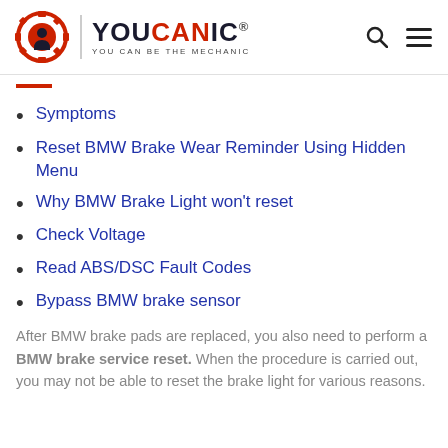YOUCANIC — YOU CAN BE THE MECHANIC
Symptoms
Reset BMW Brake Wear Reminder Using Hidden Menu
Why BMW Brake Light won't reset
Check Voltage
Read ABS/DSC Fault Codes
Bypass BMW brake sensor
After BMW brake pads are replaced, you also need to perform a BMW brake service reset. When the procedure is carried out, you may not be able to reset the brake light for various reasons.